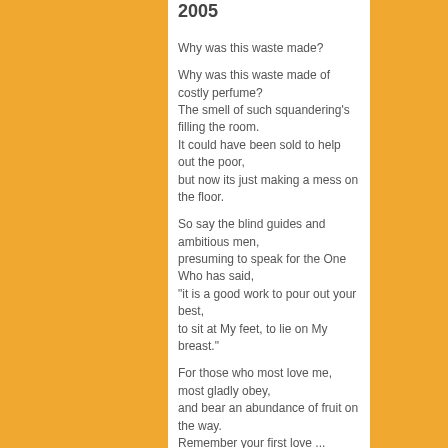2005
Why was this waste made?

Why was this waste made of costly perfume?
The smell of such squandering's filling the room.
It could have been sold to help out the poor,
but now its just making a mess on the floor.

So say the blind guides and ambitious men,
presuming to speak for the One Who has said,
"it is a good work to pour out your best,
to sit at My feet, to lie on My breast."

For those who most love me, most gladly obey,
and bear an abundance of fruit on the way.
Remember your first love ...